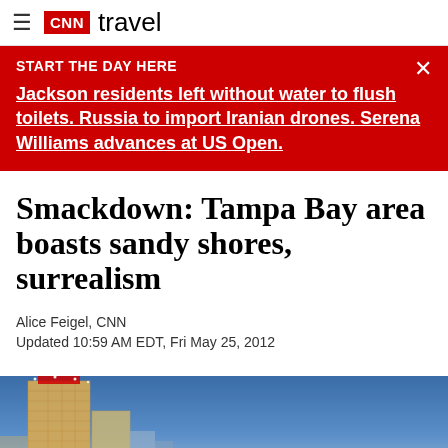≡ CNN travel
START THE DAY HERE
Jackson residents left without water to flush toilets. Russia to import Iranian drones. Serena Williams advances at US Open.
Smackdown: Tampa Bay area boasts sandy shores, surrealism
Alice Feigel, CNN
Updated 10:59 AM EDT, Fri May 25, 2012
[Figure (photo): Exterior photo of a tall illuminated hotel/casino building against a blue evening sky, Tampa Bay area]